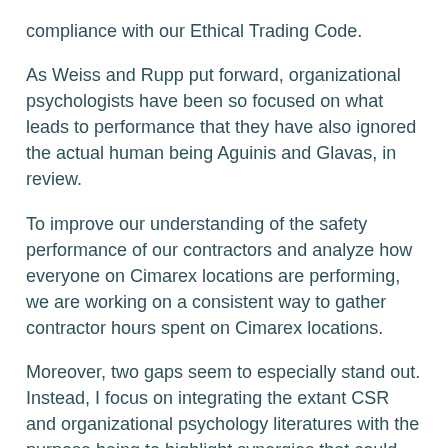compliance with our Ethical Trading Code.
As Weiss and Rupp put forward, organizational psychologists have been so focused on what leads to performance that they have also ignored the actual human being Aguinis and Glavas, in review.
To improve our understanding of the safety performance of our contractors and analyze how everyone on Cimarex locations are performing, we are working on a consistent way to gather contractor hours spent on Cimarex locations.
Moreover, two gaps seem to especially stand out. Instead, I focus on integrating the extant CSR and organizational psychology literatures with the purpose being to highlight synergies that could expand our understanding of work in general.
Training topics vary from year to year based on ongoing